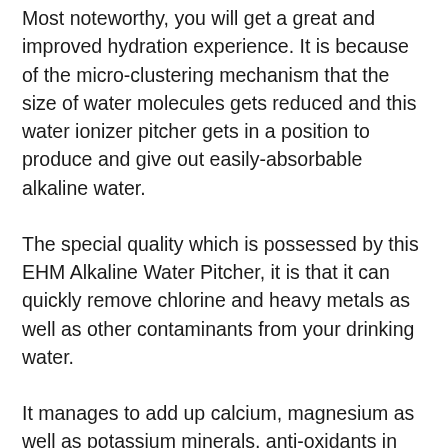Most noteworthy, you will get a great and improved hydration experience. It is because of the micro-clustering mechanism that the size of water molecules gets reduced and this water ionizer pitcher gets in a position to produce and give out easily-absorbable alkaline water.
The special quality which is possessed by this EHM Alkaline Water Pitcher, it is that it can quickly remove chlorine and heavy metals as well as other contaminants from your drinking water.
It manages to add up calcium, magnesium as well as potassium minerals, anti-oxidants in the water. Feel free to buy this alkaline water pitcher as it is